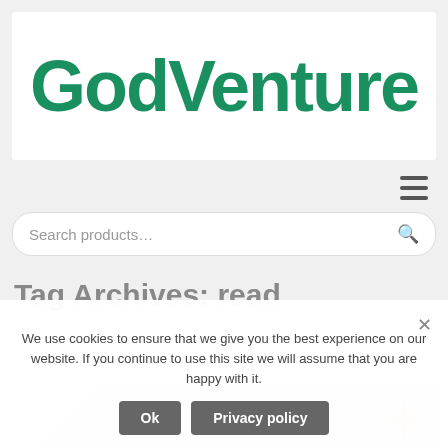[Figure (logo): GodVenture logo in large green rounded bold text on white background]
[Figure (other): Hamburger menu icon (three horizontal lines)]
Search products…
Tag Archives: read
We use cookies to ensure that we give you the best experience on our website. If you continue to use this site we will assume that you are happy with it.
Ok
Privacy policy
[Figure (photo): Bottom partial image showing what appears to be a sandy or starfish-themed background]